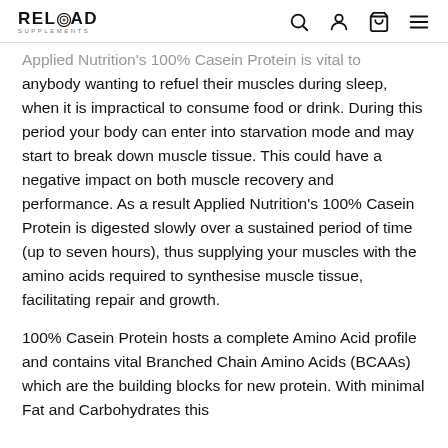RELOAD SUPPLEMENTS
Applied Nutrition's 100% Casein Protein is vital to anybody wanting to refuel their muscles during sleep, when it is impractical to consume food or drink. During this period your body can enter into starvation mode and may start to break down muscle tissue. This could have a negative impact on both muscle recovery and performance. As a result Applied Nutrition's 100% Casein Protein is digested slowly over a sustained period of time (up to seven hours), thus supplying your muscles with the amino acids required to synthesise muscle tissue, facilitating repair and growth.
100% Casein Protein hosts a complete Amino Acid profile and contains vital Branched Chain Amino Acids (BCAAs) which are the building blocks for new protein. With minimal Fat and Carbohydrates this